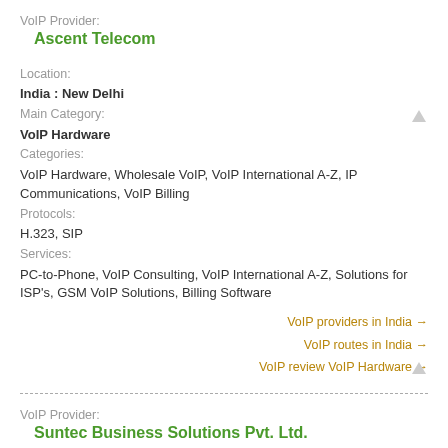VoIP Provider:
Ascent Telecom
Location:
India : New Delhi
Main Category:
VoIP Hardware
Categories:
VoIP Hardware, Wholesale VoIP, VoIP International A-Z, IP Communications, VoIP Billing
Protocols:
H.323, SIP
Services:
PC-to-Phone, VoIP Consulting, VoIP International A-Z, Solutions for ISP's, GSM VoIP Solutions, Billing Software
VoIP providers in India →
VoIP routes in India →
VoIP review VoIP Hardware →
VoIP Provider:
Suntec Business Solutions Pvt. Ltd.
Location:
India : Thiruvananthapuram
Main Category:
VoIP Billing
Categories: